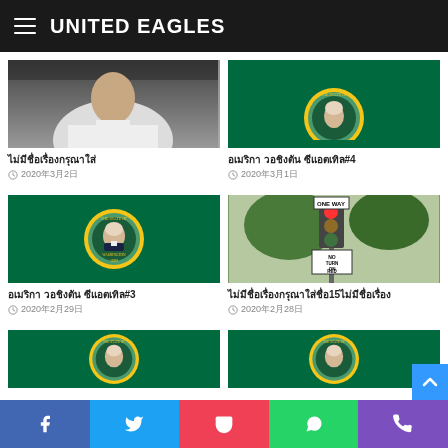UNITED EAGLES
[Figure (photo): Person in white shirt sitting in car, partially visible]
ไม่มีชื่อเรื่องกรุณาใส่
2020年3月2日
[Figure (photo): Washington State flag with seal, partially cropped at top]
อเมริกา วอชิงตัน ซีแอตเทิล#4
2020年3月1日
[Figure (photo): Washington State flag with full seal of George Washington]
อเมริกา วอชิงตัน ซีแอตเทิล#3
2020年2月29日
[Figure (photo): Traffic light with NO TURN ON RED sign and trees]
ไม่มีชื่อเรื่องกรุณาใส่ชื่อ15ไม่มีชื่อเรื่อง
2020年2月28日
[Figure (photo): Washington State flag with seal, partially visible at bottom]
[Figure (photo): Washington State flag with seal, partially visible at bottom right]